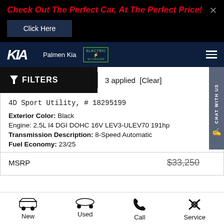Check Out The Perfect Car, At The Perfect Price!
Click Here
Palmen Kia — EV Dealer
FILTERS  |  3 applied  [Clear]
4D Sport Utility, # 18295199
Exterior Color: Black
Engine: 2.5L I4 DGI DOHC 16V LEV3-ULEV70 191hp
Transmission Description: 8-Speed Automatic
Fuel Economy: 23/25
MSRP  $33,250
New  Used  Call  Service